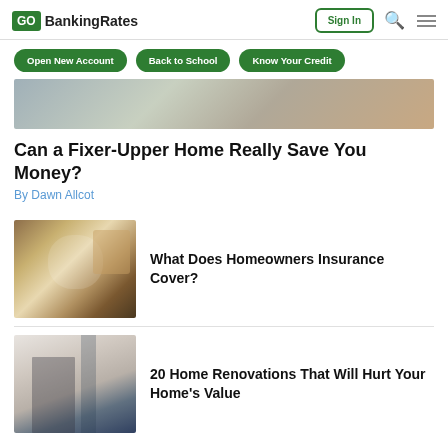GOBankingRates
[Figure (screenshot): Navigation bar with Sign In button, search icon, and hamburger menu]
Open New Account
Back to School
Know Your Credit
[Figure (photo): Hero image strip showing a home interior scene]
Can a Fixer-Upper Home Really Save You Money?
By Dawn Allcot
[Figure (photo): Two people sitting on a couch among moving boxes, smiling and looking at a tablet]
What Does Homeowners Insurance Cover?
[Figure (photo): Person painting or working on a wall during home renovation]
20 Home Renovations That Will Hurt Your Home's Value